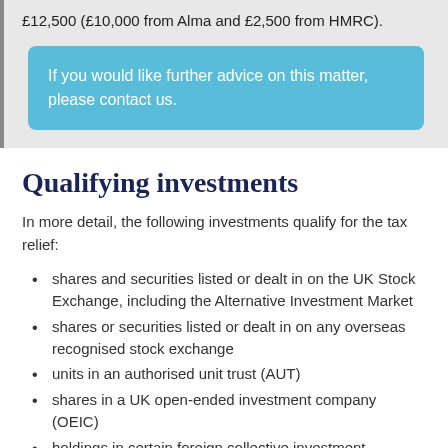£12,500 (£10,000 from Alma and £2,500 from HMRC).
If you would like further advice on this matter, please contact us.
Qualifying investments
In more detail, the following investments qualify for the tax relief:
shares and securities listed or dealt in on the UK Stock Exchange, including the Alternative Investment Market
shares or securities listed or dealt in on any overseas recognised stock exchange
units in an authorised unit trust (AUT)
shares in a UK open-ended investment company (OEIC)
holdings in certain foreign collective investment